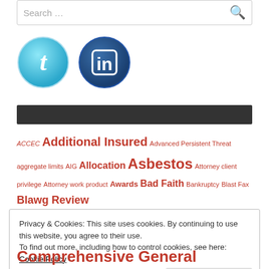Search ...
[Figure (illustration): Twitter and LinkedIn social media icon buttons — round glossy icons with 't' and 'in' logos]
[Figure (other): Dark gray horizontal bar, likely a navigation or section header bar]
ACCEC Additional Insured Advanced Persistent Threat aggregate limits AIG Allocation Asbestos Attorney client privilege Attorney work product Awards Bad Faith Bankruptcy Blast Fax Blawg Review
Privacy & Cookies: This site uses cookies. By continuing to use this website, you agree to their use. To find out more, including how to control cookies, see here: Cookie Policy
Close and accept
Comprehensive General Liability computer